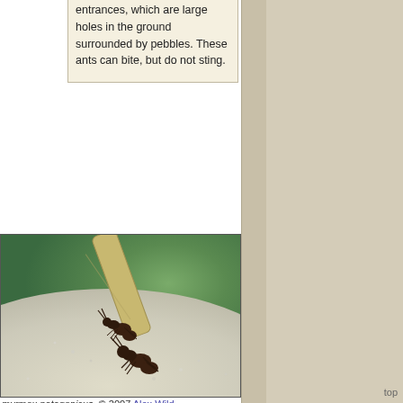entrances, which are large holes in the ground surrounded by pebbles. These ants can bite, but do not sting.
[Figure (photo): Close-up photograph of two dark brown ants (Brachymyrmex patagonicus) on a fuzzy white surface, with a tan/beige stem or branch visible at the top.]
myrmex patagonicus. © 2007 Alex Wild
Brachymyrmex patagonicus
Tree of Life Link: Brachymyrmex